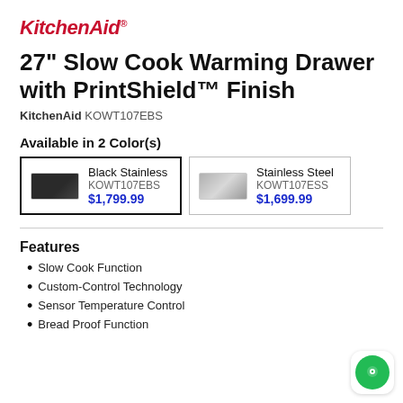[Figure (logo): KitchenAid brand logo in red italic bold font with registered trademark symbol]
27" Slow Cook Warming Drawer with PrintShield™ Finish
KitchenAid KOWT107EBS
Available in 2 Color(s)
| Color | Model | Price |
| --- | --- | --- |
| Black Stainless | KOWT107EBS | $1,799.99 |
| Stainless Steel | KOWT107ESS | $1,699.99 |
Features
Slow Cook Function
Custom-Control Technology
Sensor Temperature Control
Bread Proof Function